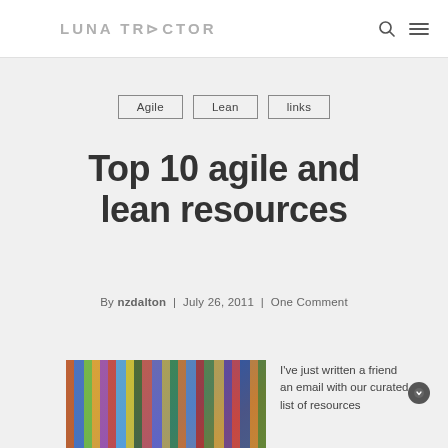LUNA TRACTOR
Agile
Lean
links
Top 10 agile and lean resources
By nzdalton | July 26, 2011 | One Comment
[Figure (photo): Colorful books on a shelf]
I've just written a friend an email with our curated list of resources